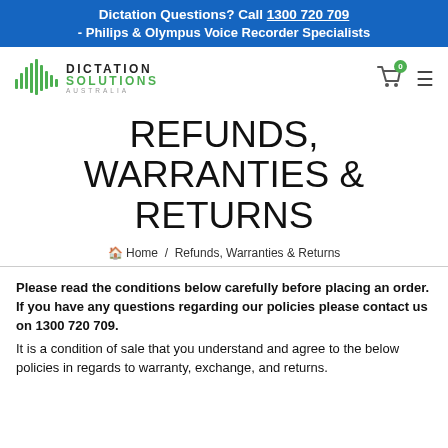Dictation Questions? Call 1300 720 709 - Philips & Olympus Voice Recorder Specialists
[Figure (logo): Dictation Solutions Australia logo with green waveform bars and text]
REFUNDS, WARRANTIES & RETURNS
Home / Refunds, Warranties & Returns
Please read the conditions below carefully before placing an order. If you have any questions regarding our policies please contact us on 1300 720 709.
It is a condition of sale that you understand and agree to the below policies in regards to warranty, exchange, and returns.